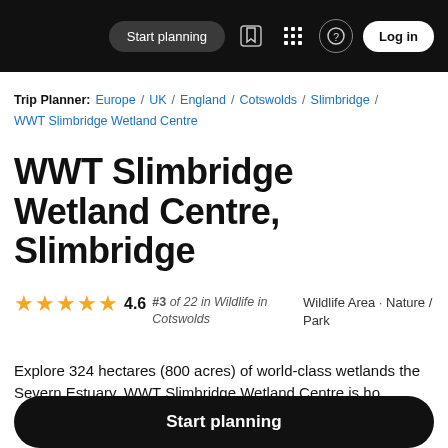Start planning | Log in
Trip Planner: Europe / UK / England / Cotswolds / Slimbridge / WWT Slimbridge Wetland Centre
WWT Slimbridge Wetland Centre, Slimbridge
4.6 stars · #3 of 22 in Wildlife in Cotswolds · Wildlife Area · Nature / Park
Explore 324 hectares (800 acres) of world-class wetlands the Severn Estuary. WWT Slimbridge Wetland Centre is ho
Start planning